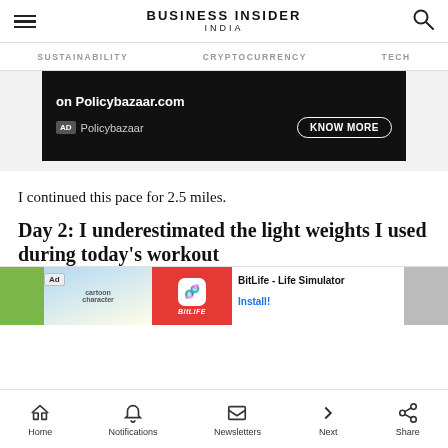BUSINESS INSIDER INDIA
SUSTAINABILITY   CRYPTOCURRENCY   TECH
[Figure (screenshot): Policybazaar.com advertisement banner with 'on Policybazaar.com' text, AD tag, Policybazaar brand name, and KNOW MORE button on dark background]
I continued this pace for 2.5 miles.
Day 2: I underestimated the light weights I used during today's workout
[Figure (screenshot): BitLife - Life Simulator inline advertisement with cartoon character image, BitLife red logo, app title 'BitLife - Life Simulator', and Install! button]
Home   Notifications   Newsletters   Next   Share